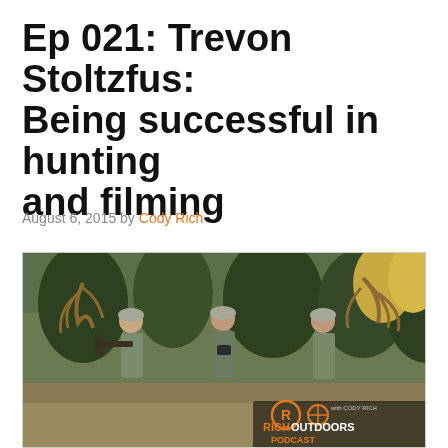Ep 021: Trevon Stoltzfus: Being successful in hunting and filming
August 6, 2015 by Cody Rich
[Figure (photo): Three hunters in camouflage gear carrying elk antlers through a forested area, with a Rich Outdoors Podcast logo overlay in the bottom right corner.]